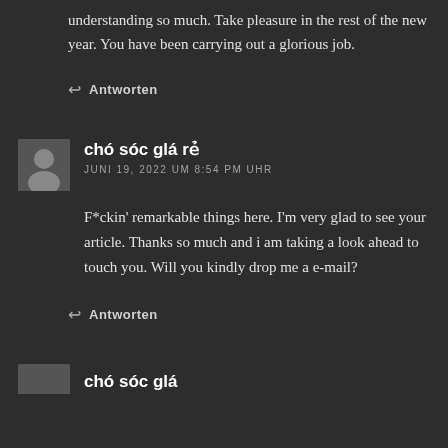understanding so much. Take pleasure in the rest of the new year. You have been carrying out a glorious job.
↩ Antworten
chó sóc glá rẻ
JUNI 19, 2022 UM 8:54 PM UHR
F*ckin' remarkable things here. I'm very glad to see your article. Thanks so much and i am taking a look ahead to touch you. Will you kindly drop me a e-mail?
↩ Antworten
chó sóc glá